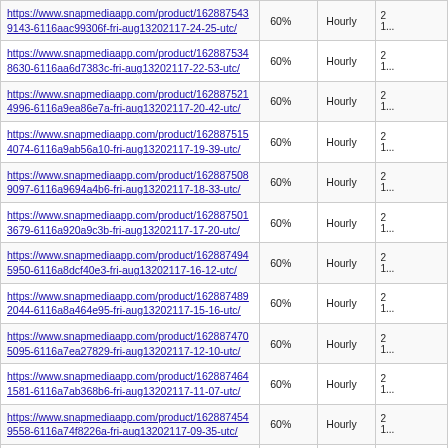| URL | Priority | Frequency | Last Modified |
| --- | --- | --- | --- |
| https://www.snapmediaapp.com/product/1628875439143-6116aac99306f-fri-aug13202117-24-25-utc/ | 60% | Hourly | 2...1... |
| https://www.snapmediaapp.com/product/1628875348630-6116aa6d7383c-fri-aug13202117-22-53-utc/ | 60% | Hourly | 2...1... |
| https://www.snapmediaapp.com/product/1628875214996-6116a9ea86e7a-fri-aug13202117-20-42-utc/ | 60% | Hourly | 2...1... |
| https://www.snapmediaapp.com/product/1628875154074-6116a9ab56a10-fri-aug13202117-19-39-utc/ | 60% | Hourly | 2...1... |
| https://www.snapmediaapp.com/product/1628875089097-6116a9694a4b6-fri-aug13202117-18-33-utc/ | 60% | Hourly | 2...1... |
| https://www.snapmediaapp.com/product/1628875013679-6116a920a9c3b-fri-aug13202117-17-20-utc/ | 60% | Hourly | 2...1... |
| https://www.snapmediaapp.com/product/1628874945950-6116a8dcf40e3-fri-aug13202117-16-12-utc/ | 60% | Hourly | 2...1... |
| https://www.snapmediaapp.com/product/1628874892044-6116a8a464e95-fri-aug13202117-15-16-utc/ | 60% | Hourly | 2...1... |
| https://www.snapmediaapp.com/product/1628874705095-6116a7ea27829-fri-aug13202117-12-10-utc/ | 60% | Hourly | 2...1... |
| https://www.snapmediaapp.com/product/1628874641581-6116a7ab368b6-fri-aug13202117-11-07-utc/ | 60% | Hourly | 2...1... |
| https://www.snapmediaapp.com/product/1628874549558-6116a74f8226a-fri-aug13202117-09-35-utc/ | 60% | Hourly | 2...1... |
| https://www.snapmediaapp.com/product/1628874450073-6116a6ed28e29-fri-aug13202117-07-57-utc/ | 60% | Hourly | 2...1... |
| https://www.snapmediaapp.com/product/1628874361984- | 60% | Hourly | 2...1... |